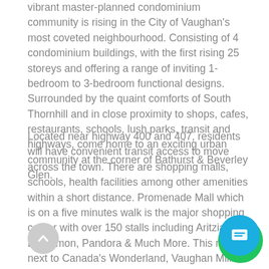vibrant master-planned condominium community is rising in the City of Vaughan's most coveted neighbourhood. Consisting of 4 condominium buildings, with the first rising 25 storeys and offering a range of inviting 1-bedroom to 3-bedroom functional designs. Surrounded by the quaint comforts of South Thornhill and in close proximity to shops, cafes, restaurants, schools, lush parks, transit and highways, come home to an exciting urban community at the corner of Bathurst & Beverley Glen.
Located near highway 400 and 407, residents will have convenient transit access to move across the town. There are shopping malls, schools, health facilities among other amenities within a short distance. Promenade Mall which is on a five minutes walk is the major shopping center with over 150 stalls including Aritzia, Lululemon, Pandora & Much More. This mall is next to Canada's Wonderland, Vaughan Mills, where residents will have a chance to shop in more than 200 fashion outlets, get entertained, and enjoy outdoor dining. Steps from the TTC terminals that join Vaughan Metropolitan Centre (VMC) subway station and Downsview subway stations. Public bus services are